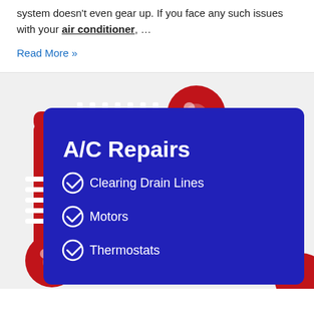system doesn't even gear up. If you face any such issues with your air conditioner, …
Read More »
[Figure (infographic): Thermometer/gauge graphic with a dark blue card showing A/C Repairs services including Clearing Drain Lines, Motors, Thermostats]
A/C Repairs
Clearing Drain Lines
Motors
Thermostats